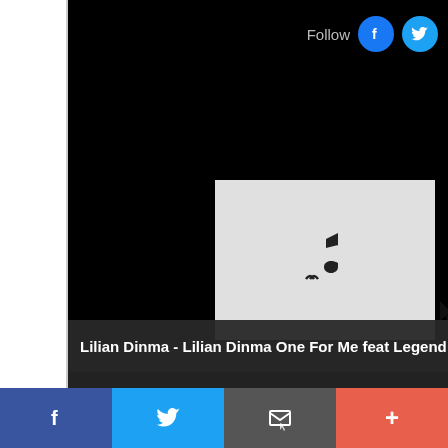[Figure (screenshot): Social media follow buttons with Facebook and Twitter icons in top right corner]
[Figure (screenshot): Large music thumbnail placeholder with music note icon and play cursor]
Lilian Dinma - Lilian Dinma One For Me feat Legend otwen
[Figure (screenshot): Three music thumbnail placeholders in a row with music note icons, and an eject/upload button overlay]
[Figure (screenshot): Bottom social sharing bar with Facebook, Twitter, email, and plus buttons]